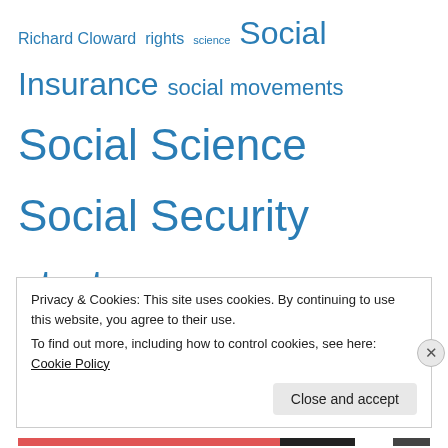Richard Cloward rights science Social Insurance social movements Social Science Social Security strategy Supreme Court terrorism This Day in History unions Violence voting rights Wall Street War War on Drugs work
Recent Posts
Racecraft – Additional Readings
Telling People Things Are Bad Is Not Enough
Poor People's Movements and The Movements of 2020
Privacy & Cookies: This site uses cookies. By continuing to use this website, you agree to their use.
To find out more, including how to control cookies, see here: Cookie Policy
Close and accept